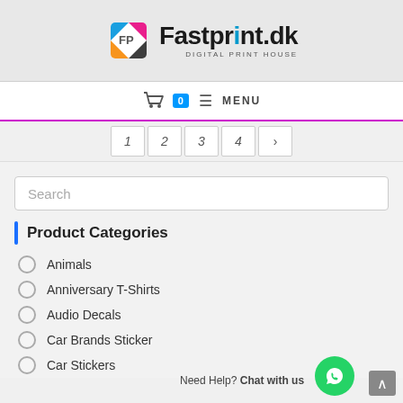[Figure (logo): Fastprint.dk Digital Print House logo with colorful diamond icon]
Cart 0 MENU
1 2 3 4 →
Search
Product Categories
Animals
Anniversary T-Shirts
Audio Decals
Car Brands Sticker
Car Stickers
Need Help? Chat with us